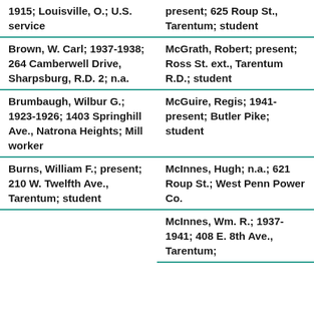1915; Louisville, O.; U.S. service
present; 625 Roup St., Tarentum; student
Brown, W. Carl; 1937-1938; 264 Camberwell Drive, Sharpsburg, R.D. 2; n.a.
McGrath, Robert; present; Ross St. ext., Tarentum R.D.; student
Brumbaugh, Wilbur G.; 1923-1926; 1403 Springhill Ave., Natrona Heights; Mill worker
McGuire, Regis; 1941-present; Butler Pike; student
Burns, William F.; present; 210 W. Twelfth Ave., Tarentum; student
McInnes, Hugh; n.a.; 621 Roup St.; West Penn Power Co.
McInnes, Wm. R.; 1937-1941; 408 E. 8th Ave., Tarentum;